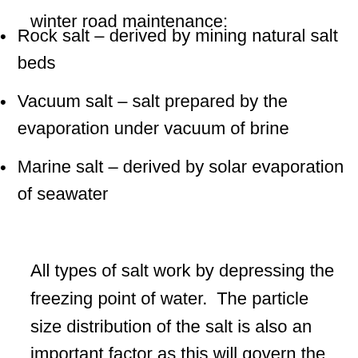winter road maintenance:
Rock salt – derived by mining natural salt beds
Vacuum salt – salt prepared by the evaporation under vacuum of brine
Marine salt – derived by solar evaporation of seawater
All types of salt work by depressing the freezing point of water.  The particle size distribution of the salt is also an important factor as this will govern the spread of the salt